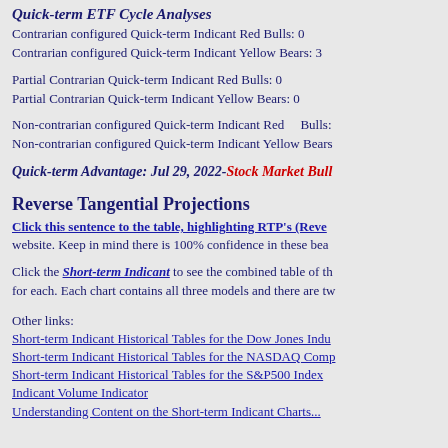Quick-term ETF Cycle Analyses
Contrarian configured Quick-term Indicant Red Bulls: 0
Contrarian configured Quick-term Indicant Yellow Bears: 3
Partial Contrarian Quick-term Indicant Red Bulls: 0
Partial Contrarian Quick-term Indicant Yellow Bears: 0
Non-contrarian configured Quick-term Indicant Red    Bulls:
Non-contrarian configured Quick-term Indicant Yellow Bears
Quick-term Advantage: Jul 29, 2022-Stock Market Bull
Reverse Tangential Projections
Click this sentence to the table, highlighting RTP's (Reve... website. Keep in mind there is 100% confidence in these bea...
Click the Short-term Indicant to see the combined table of th... for each. Each chart contains all three models and there are tw...
Other links:
Short-term Indicant Historical Tables for the Dow Jones Indu...
Short-term Indicant Historical Tables for the NASDAQ Comp...
Short-term Indicant Historical Tables for the S&P500 Index
Indicant Volume Indicator
Understanding Content on the Short-term Indicant Charts...